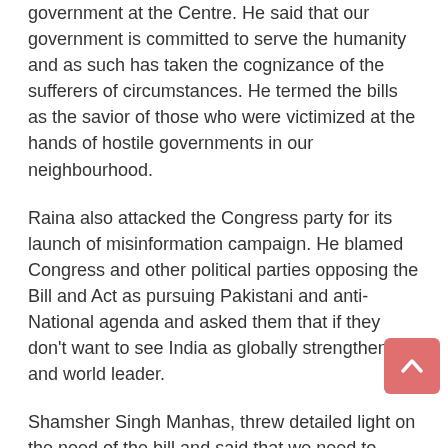government at the Centre. He said that our government is committed to serve the humanity and as such has taken the cognizance of the sufferers of circumstances. He termed the bills as the savior of those who were victimized at the hands of hostile governments in our neighbourhood.
Raina also attacked the Congress party for its launch of misinformation campaign. He blamed Congress and other political parties opposing the Bill and Act as pursuing Pakistani and anti-National agenda and asked them that if they don't want to see India as globally strengthened and world leader.
Shamsher Singh Manhas, threw detailed light on the need of the bill and said that we need to understand the need of the act from the eyes of those who were forced to leave their homes as they faced religious persecution in neighbouring Nations. He said that this Bill and Act has only given rights to the persons to live their life with dignity and safety and this bill not at all stands against anybody in anyway.